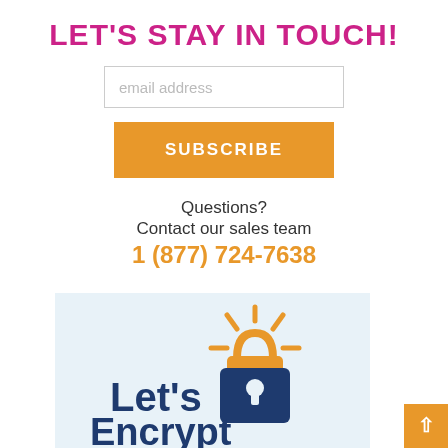LET'S STAY IN TOUCH!
email address
SUBSCRIBE
Questions?
Contact our sales team
1 (877) 724-7638
[Figure (logo): Let's Encrypt logo — dark blue padlock with golden sun rays above, with text 'Let's Encrypt' in dark blue on a light blue background]